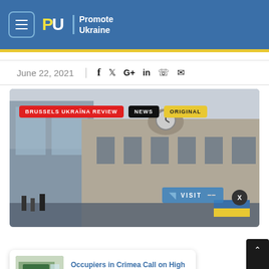Promote Ukraine
June 22, 2021
[Figure (screenshot): Photo of Brussels building (likely European Parliament area) with badges: BRUSSELS UKRAÏNA REVIEW, NEWS, ORIGINAL. Overlapping news card at bottom showing classroom thumbnail and headline 'Occupiers in Crimea Call on High School Students, 12 hours ago'.]